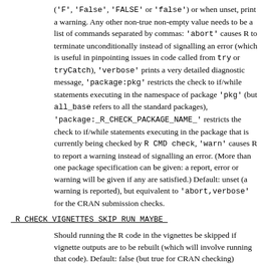('F', 'False', 'FALSE' or 'false') or when unset, print a warning. Any other non-true non-empty value needs to be a list of commands separated by commas: 'abort' causes R to terminate unconditionally instead of signalling an error (which is useful in pinpointing issues in code called from try or tryCatch), 'verbose' prints a very detailed diagnostic message, 'package:pkg' restricts the check to if/while statements executing in the namespace of package 'pkg' (but all_base refers to all the standard packages), 'package:_R_CHECK_PACKAGE_NAME_' restricts the check to if/while statements executing in the package that is currently being checked by R CMD check, 'warn' causes R to report a warning instead of signalling an error. (More than one package specification can be given: a report, error or warning will be given if any are satisfied.) Default: unset (a warning is reported), but equivalent to 'abort,verbose' for the CRAN submission checks.
_R_CHECK_VIGNETTES_SKIP_RUN_MAYBE_
Should running the R code in the vignettes be skipped if vignette outputs are to be rebuilt (which will involve running that code). Default: false (but true for CRAN checking)